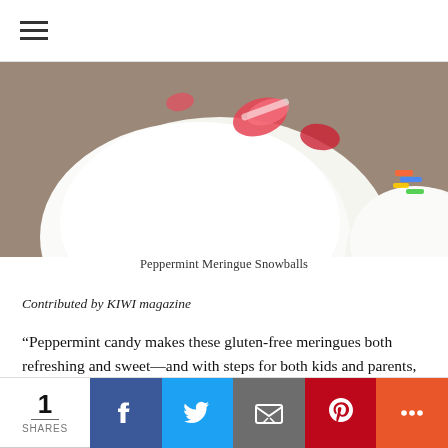☰ (hamburger menu)
[Figure (photo): Close-up photo of white Peppermint Meringue Snowball cookies, dusted with powdered sugar, with colorful peppermint candy pieces on top, on a wooden surface.]
Peppermint Meringue Snowballs
Contributed by KIWI magazine
“Peppermint candy makes these gluten-free meringues both refreshing and sweet—and with steps for both kids and parents, it’s the perfect seasonal recipe to try together.” Get the recipe.
1 SHARES | Facebook | Twitter | Email | Pinterest | More